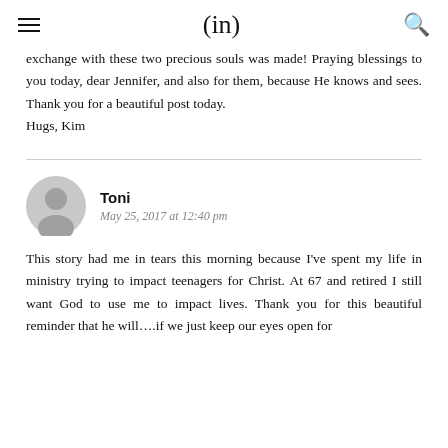(in)
exchange with these two precious souls was made! Praying blessings to you today, dear Jennifer, and also for them, because He knows and sees. Thank you for a beautiful post today. Hugs, Kim
Toni
May 25, 2017 at 12:40 pm
This story had me in tears this morning because I've spent my life in ministry trying to impact teenagers for Christ. At 67 and retired I still want God to use me to impact lives. Thank you for this beautiful reminder that he will….if we just keep our eyes open for